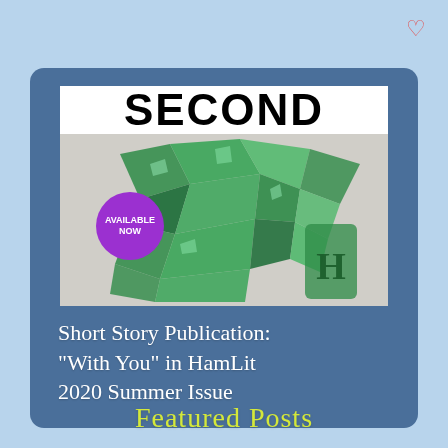[Figure (other): Heart icon (outline) in red/coral color in top-right corner of page]
[Figure (photo): Magazine cover showing the word SECOND in bold black at top, with broken green glass pieces on a light background, and a purple circular badge reading AVAILABLE NOW]
Short Story Publication: "With You" in HamLit 2020 Summer Issue
Featured Posts